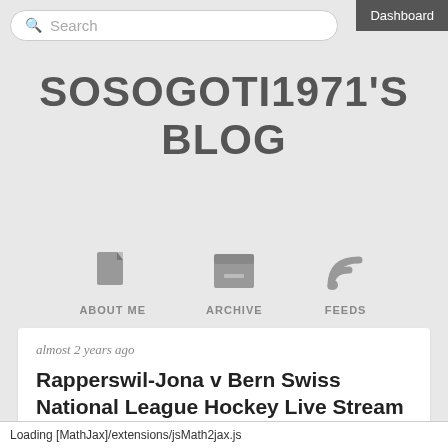Dashboard
Search
SOSOGOTI1971'S BLOG
[Figure (infographic): Navigation icons: About Me (document icon), Archive (box/archive icon), Feeds (RSS feed icon)]
almost 2 years ago
Rapperswil-Jona v Bern Swiss National League Hockey Live Stream October 29, 2020
Competition: Rapperswil-Jona Lakers vs Bern live streaming
Loading [MathJax]/extensions/jsMath2jax.js